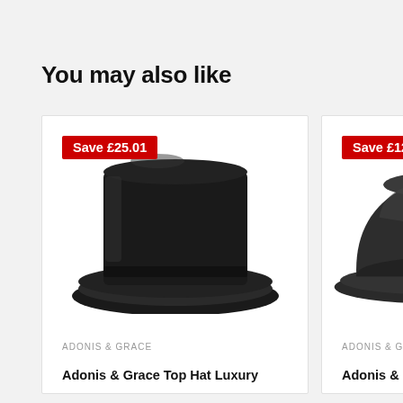You may also like
[Figure (photo): Black top hat product photo with Save £25.01 badge, brand ADONIS & GRACE, product title Adonis & Grace Top Hat Luxury]
[Figure (photo): Dark grey bowler hat product photo with Save £12.00 badge, brand ADONIS & GRACE, product title Adonis & Grace Bow...]